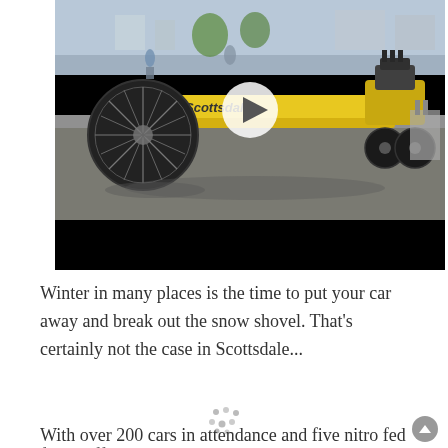[Figure (photo): A yellow dragster race car displayed outdoors in a parking area, with a large front wheel visible on the left side. The car appears to have a supercharged engine at the rear. Several people are visible in the background. A play button overlay indicates this is a video thumbnail. The lower portion of the video area is a black bar (letterboxing).]
Winter in many places is the time to put your car away and break out the snow shovel. That's certainly not the case in Scottsdale...
With over 200 cars in attendance and five nitro fed dragsters firing off this is an event you don't want to miss!